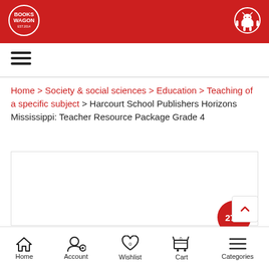[Figure (logo): BooksWagon logo in white on red circular badge]
[Figure (logo): Android robot icon in white circle outline]
[Figure (other): Hamburger menu icon (three horizontal lines)]
Home > Society & social sciences > Education > Teaching of a specific subject > Harcourt School Publishers Horizons Mississippi: Teacher Resource Package Grade 4
[Figure (other): Product image placeholder box with 27% discount badge]
[Figure (other): Scroll to top button with upward chevron]
Home | Account | Wishlist | Cart | Categories